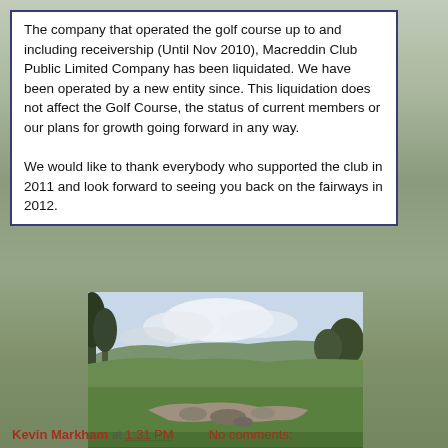The company that operated the golf course up to and including receivership (Until Nov 2010), Macreddin Club Public Limited Company has been liquidated. We have been operated by a new entity since. This liquidation does not affect the Golf Course, the status of current members or our plans for growth going forward in any way.

We would like to thank everybody who supported the club in 2011 and look forward to seeing you back on the fairways in 2012.
[Figure (photo): Photograph of a golf course fairway with green grass, rocky ground hazard in the foreground, trees on the left, rolling hills and cloudy sky in the background — approach to the par four 18th hole at Macreddin Golf Club.]
[Photo: approach to the par four 18th]
Kevin Markham at 1:31 PM    No comments: